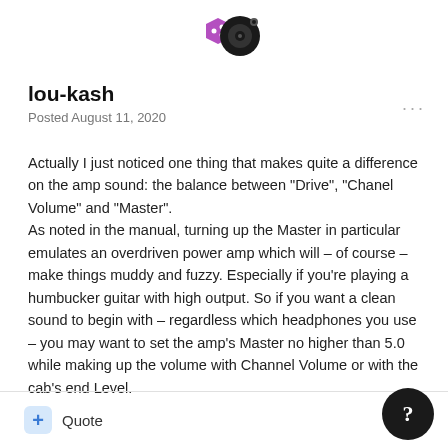[Figure (logo): Forum logo with a purple hexagon icon and a black circular vinyl record icon]
lou-kash
Posted August 11, 2020
Actually I just noticed one thing that makes quite a difference on the amp sound: the balance between "Drive", "Chanel Volume" and "Master".
As noted in the manual, turning up the Master in particular emulates an overdriven power amp which will – of course – make things muddy and fuzzy. Especially if you're playing a humbucker guitar with high output. So if you want a clean sound to begin with – regardless which headphones you use – you may want to set the amp's Master no higher than 5.0 while making up the volume with Channel Volume or with the cab's end Level.
+ Quote